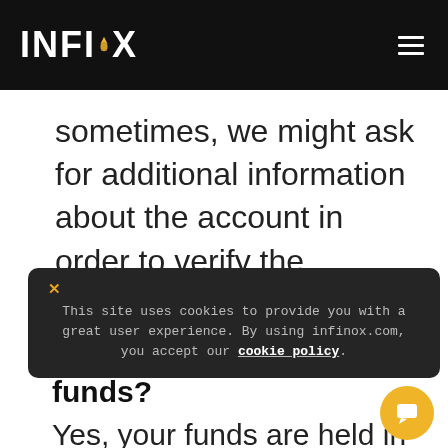[Figure (logo): INFINOX logo in white text on black background with orange flame icon, and hamburger menu icon top right]
sometimes, we might ask for additional information about the account in order to verify the withdrawal.
This site uses cookies to provide you with a great user experience. By using infinox.com, you accept our cookie policy.
funds?
Yes, your funds are held in a Segregated Client Ac...